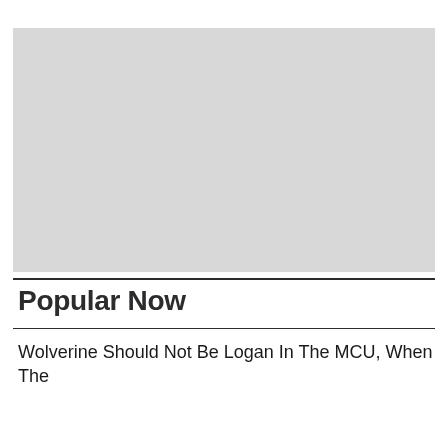[Figure (photo): Large gray placeholder image occupying upper portion of page]
Popular Now
Wolverine Should Not Be Logan In The MCU, When The